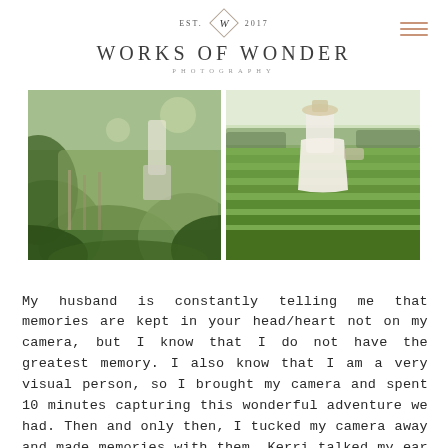EST. W 2017 WORKS OF WONDER PHOTOGRAPHY
[Figure (photo): Two side-by-side outdoor photographs. Left: close-up view of green leafy plants with bokeh blur, a person's lower body visible in background. Right: person in white dress standing in a green field/farm, overhead sunny sky.]
My husband is constantly telling me that memories are kept in your head/heart not on my camera, but I know that I do not have the greatest memory. I also know that I am a very visual person, so I brought my camera and spent 10 minutes capturing this wonderful adventure we had. Then and only then, I tucked my camera away and made memories with them. Kerri talked my ear off while Seth kept his